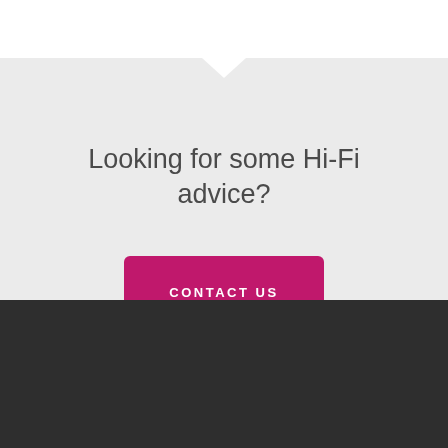Looking for some Hi-Fi advice?
CONTACT US
ACCOUNT
My Account
View Cart
Checkout